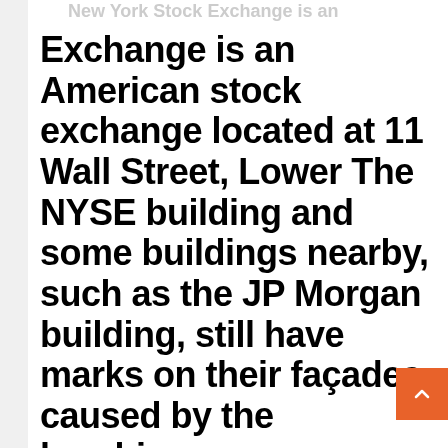New York Stock Exchange is an American stock exchange located at 11 Wall Street, Lower The NYSE building...
Exchange is an American stock exchange located at 11 Wall Street, Lower The NYSE building and some buildings nearby, such as the JP Morgan building, still have marks on their façades caused by the bombing.
This post is a guide and a virtual tour of the New York Stock Exchange (NYSE) The massive facade of the building is ac not on Wall Street but on Broad. This website uses cookie similar technologies to help us to understand how you use the